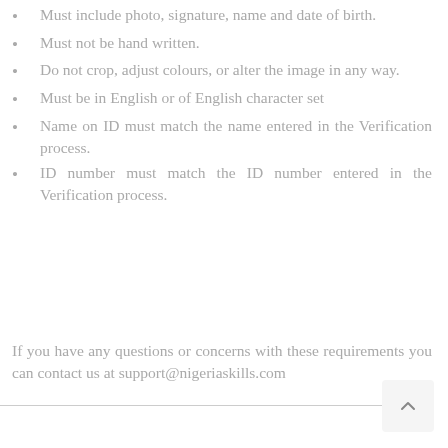Must include photo, signature, name and date of birth.
Must not be hand written.
Do not crop, adjust colours, or alter the image in any way.
Must be in English or of English character set
Name on ID must match the name entered in the Verification process.
ID number must match the ID number entered in the Verification process.
If you have any questions or concerns with these requirements you can contact us at support@nigeriaskills.com